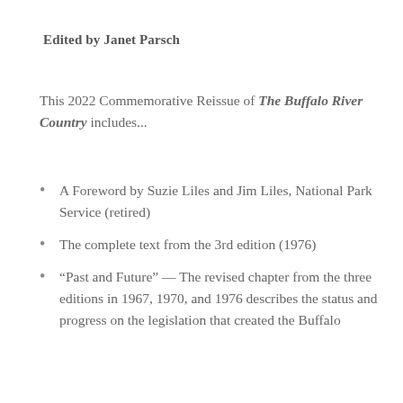Edited by Janet Parsch
This 2022 Commemorative Reissue of The Buffalo River Country includes...
A Foreword by Suzie Liles and Jim Liles, National Park Service (retired)
The complete text from the 3rd edition (1976)
“Past and Future” — The revised chapter from the three editions in 1967, 1970, and 1976 describes the status and progress on the legislation that created the Buffalo